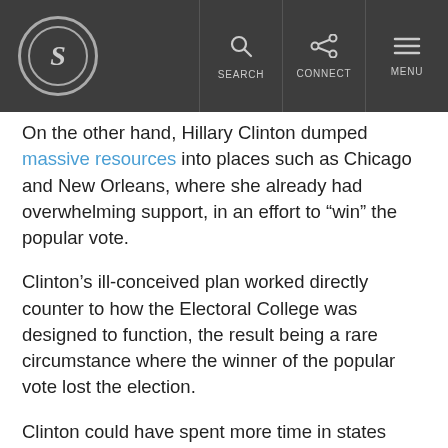S SEARCH CONNECT MENU
On the other hand, Hillary Clinton dumped massive resources into places such as Chicago and New Orleans, where she already had overwhelming support, in an effort to “win” the popular vote.
Clinton’s ill-conceived plan worked directly counter to how the Electoral College was designed to function, the result being a rare circumstance where the winner of the popular vote lost the election.
Clinton could have spent more time in states such as Michigan and Pennsylvania, once thought to be part of an electoral “Blue Wall” in the so-called Rust Belt. But she didn’t.